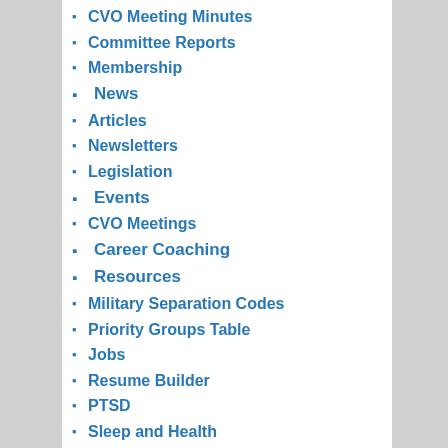CVO Meeting Minutes
Committee Reports
Membership
News
Articles
Newsletters
Legislation
Events
CVO Meetings
Career Coaching
Resources
Military Separation Codes
Priority Groups Table
Jobs
Resume Builder
PTSD
Sleep and Health
Vet Discounts
Honor Flight Chicago
Veterans and Mesothelioma
Handbooks and Guides